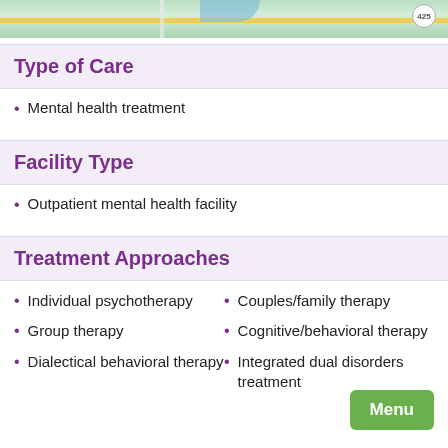[Figure (map): Top strip showing a partial map view with roads and a route badge]
Type of Care
Mental health treatment
Facility Type
Outpatient mental health facility
Treatment Approaches
Individual psychotherapy
Couples/family therapy
Group therapy
Cognitive/behavioral therapy
Dialectical behavioral therapy
Integrated dual disorders treatment